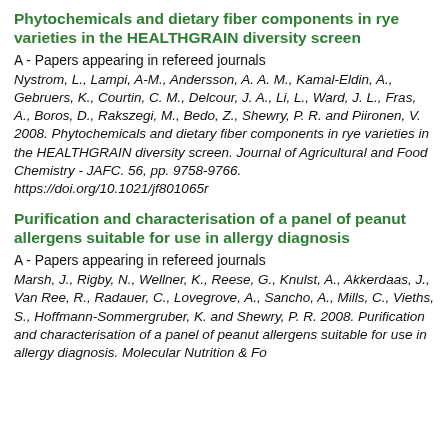Phytochemicals and dietary fiber components in rye varieties in the HEALTHGRAIN diversity screen
A - Papers appearing in refereed journals
Nystrom, L., Lampi, A-M., Andersson, A. A. M., Kamal-Eldin, A., Gebruers, K., Courtin, C. M., Delcour, J. A., Li, L., Ward, J. L., Fras, A., Boros, D., Rakszegi, M., Bedo, Z., Shewry, P. R. and Piironen, V. 2008. Phytochemicals and dietary fiber components in rye varieties in the HEALTHGRAIN diversity screen. Journal of Agricultural and Food Chemistry - JAFC. 56, pp. 9758-9766. https://doi.org/10.1021/jf801065r
Purification and characterisation of a panel of peanut allergens suitable for use in allergy diagnosis
A - Papers appearing in refereed journals
Marsh, J., Rigby, N., Wellner, K., Reese, G., Knulst, A., Akkerdaas, J., Van Ree, R., Radauer, C., Lovegrove, A., Sancho, A., Mills, C., Vieths, S., Hoffmann-Sommergruber, K. and Shewry, P. R. 2008. Purification and characterisation of a panel of peanut allergens suitable for use in allergy diagnosis. Molecular Nutrition & Fo...